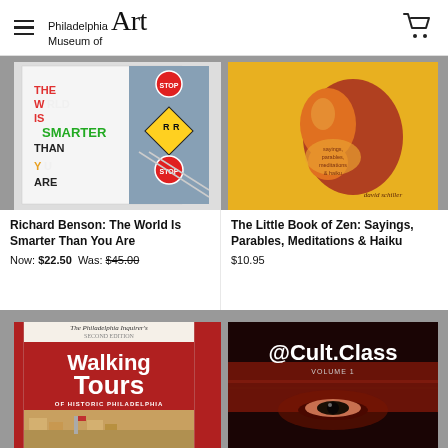Philadelphia Museum of Art
[Figure (photo): Book cover: Richard Benson: The World Is Smarter Than You Are - colorful text and railroad crossing signs]
Richard Benson: The World Is Smarter Than You Are
Now: $22.50   Was: $45.00
[Figure (photo): Book cover: The Little Book of Zen: Sayings, Parables, Meditations & Haiku - yellow cover with pear illustration by David Schiller]
The Little Book of Zen: Sayings, Parables, Meditations & Haiku
$10.95
[Figure (photo): Book cover: The Philadelphia Inquirer's Walking Tours of Historic Philadelphia - red cover with city street image]
[Figure (photo): Book cover: @Cult.Class Volume 1 - dark red cover with close-up eye image]